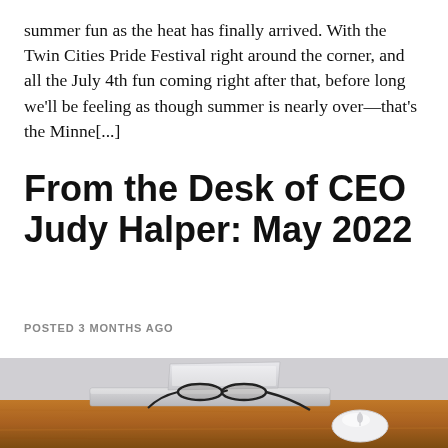summer fun as the heat has finally arrived. With the Twin Cities Pride Festival right around the corner, and all the July 4th fun coming right after that, before long we'll be feeling as though summer is nearly over—that's the Minne[...]
From the Desk of CEO Judy Halper: May 2022
POSTED 3 MONTHS AGO
[Figure (photo): Photo of a wooden desk with a closed laptop, a pair of black-rimmed glasses resting on the laptop, and a white Apple Magic Mouse to the right. The background is a plain light grey wall.]